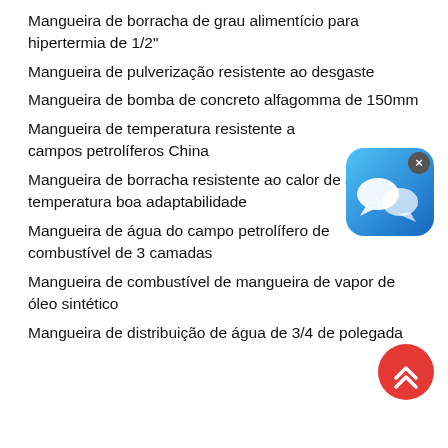Mangueira de borracha de grau alimentício para hipertermia de 1/2"
Mangueira de pulverização resistente ao desgaste
Mangueira de bomba de concreto alfagomma de 150mm
Mangueira de temperatura resistente a campos petrolíferos China
Mangueira de borracha resistente ao calor de alta temperatura boa adaptabilidade
Mangueira de água do campo petrolífero de combustível de 3 camadas
Mangueira de combustível de mangueira de vapor de óleo sintético
Mangueira de distribuição de água de 3/4 de polegada